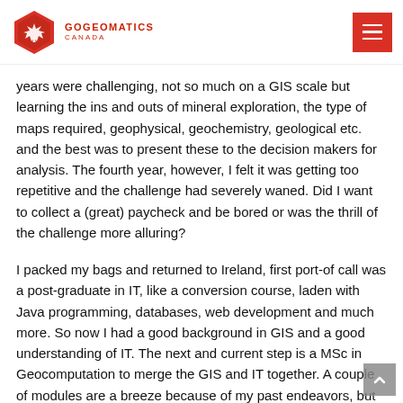GoGeomatics Canada
years were challenging, not so much on a GIS scale but learning the ins and outs of mineral exploration, the type of maps required, geophysical, geochemistry, geological etc. and the best was to present these to the decision makers for analysis. The fourth year, however, I felt it was getting too repetitive and the challenge had severely waned. Did I want to collect a (great) paycheck and be bored or was the thrill of the challenge more alluring?
I packed my bags and returned to Ireland, first port-of call was a post-graduate in IT, like a conversion course, laden with Java programming, databases, web development and much more. So now I had a good background in GIS and a good understanding of IT. The next and current step is a MSc in Geocomputation to merge the GIS and IT together. A couple of modules are a breeze because of my past endeavors, but some are extremely challenging such as spatial statistical analysis using R programming, and object-orientated programming using a variety of languages.
I think back to the height I was at in my career based on a job title but at the end of the day that's exactly what is was, only a job title. I didn't know half the stuff I should have known and even then I didn't...